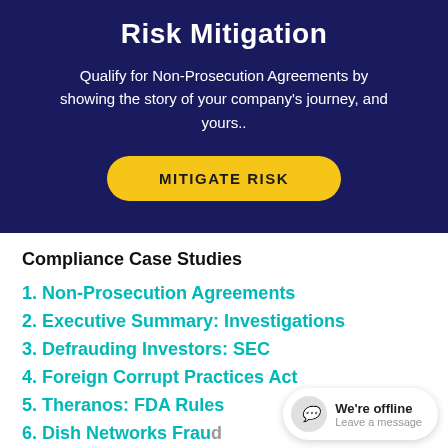Risk Mitigation
Qualify for Non-Prosecution Agreements by showing the story of your company's journey, and yours..
[Figure (other): Yellow rounded button with text MITIGATE RISK on dark navy background]
Compliance Case Studies
1. Non-Prosecution Agreements
2. Executive Summary: Investigations
3. Defrauding Investors: SEC
4. Foreign Corrupt Practices Act
5. Theranos: FDA Rules
6. Dish Networks Fraud
7. Kickbacks Schneider